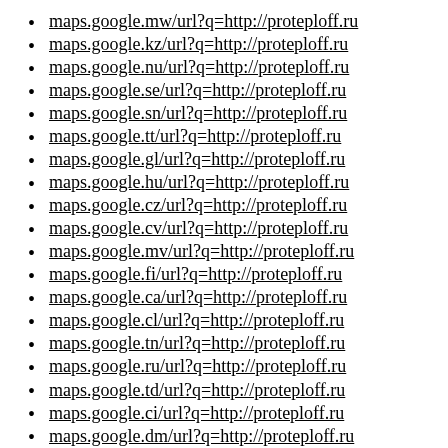maps.google.mw/url?q=http://proteploff.ru
maps.google.kz/url?q=http://proteploff.ru
maps.google.nu/url?q=http://proteploff.ru
maps.google.se/url?q=http://proteploff.ru
maps.google.sn/url?q=http://proteploff.ru
maps.google.tt/url?q=http://proteploff.ru
maps.google.gl/url?q=http://proteploff.ru
maps.google.hu/url?q=http://proteploff.ru
maps.google.cz/url?q=http://proteploff.ru
maps.google.cv/url?q=http://proteploff.ru
maps.google.mv/url?q=http://proteploff.ru
maps.google.fi/url?q=http://proteploff.ru
maps.google.ca/url?q=http://proteploff.ru
maps.google.cl/url?q=http://proteploff.ru
maps.google.tn/url?q=http://proteploff.ru
maps.google.ru/url?q=http://proteploff.ru
maps.google.td/url?q=http://proteploff.ru
maps.google.ci/url?q=http://proteploff.ru
maps.google.dm/url?q=http://proteploff.ru